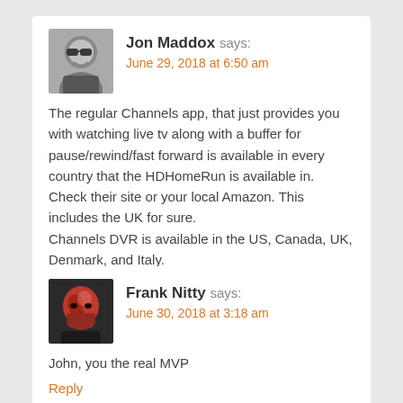Jon Maddox says:
June 29, 2018 at 6:50 am
The regular Channels app, that just provides you with watching live tv along with a buffer for pause/rewind/fast forward is available in every country that the HDHomeRun is available in. Check their site or your local Amazon. This includes the UK for sure.
Channels DVR is available in the US, Canada, UK, Denmark, and Italy.
Reply
Frank Nitty says:
June 30, 2018 at 3:18 am
John, you the real MVP
Reply